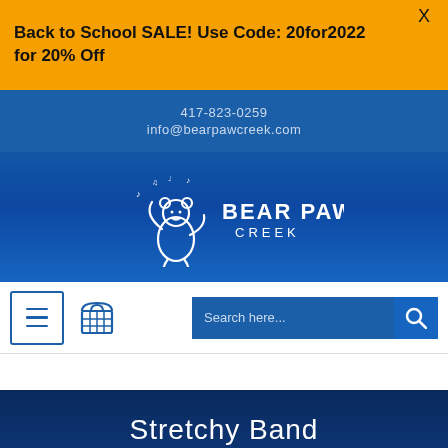Back to School SALE! Use Code: 20for2022 for 20% Off
417-823-0259
info@bearpawcreek.com
[Figure (logo): Bear Paw Creek logo: white bear dancing with musical notes, text BEAR PAW CREEK]
[Figure (screenshot): Navigation bar with hamburger menu button, cart icon, and search bar reading 'Search here...']
Stretchy Band